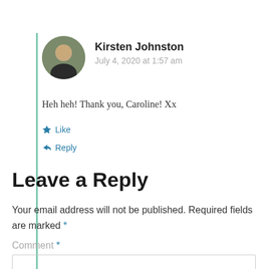Kirsten Johnston
July 4, 2020 at 1:57 am
Heh heh! Thank you, Caroline! Xx
Like
Reply
Leave a Reply
Your email address will not be published. Required fields are marked *
Comment *